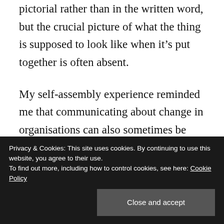pictorial rather than in the written word, but the crucial picture of what the thing is supposed to look like when it's put together is often absent.
My self-assembly experience reminded me that communicating about change in organisations can also sometimes be like explaining to bemused colleagues how to assemble a flat packed wardrobe. It is all too easy for colleagues to become confused and disengaged when there are lots of bits of apparently
Privacy & Cookies: This site uses cookies. By continuing to use this website, you agree to their use.
To find out more, including how to control cookies, see here: Cookie Policy
Close and accept